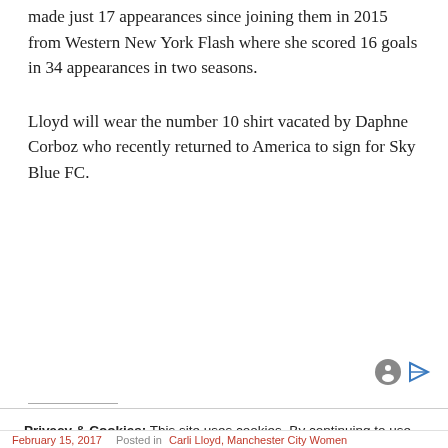made just 17 appearances since joining them in 2015 from Western New York Flash where she scored 16 goals in 34 appearances in two seasons.
Lloyd will wear the number 10 shirt vacated by Daphne Corboz who recently returned to America to sign for Sky Blue FC.
Privacy & Cookies: This site uses cookies. By continuing to use this website, you agree to their use.
To find out more, including how to control cookies, see here: Cookie Policy
February 15, 2017   Posted in Carli Lloyd, Manchester City Women